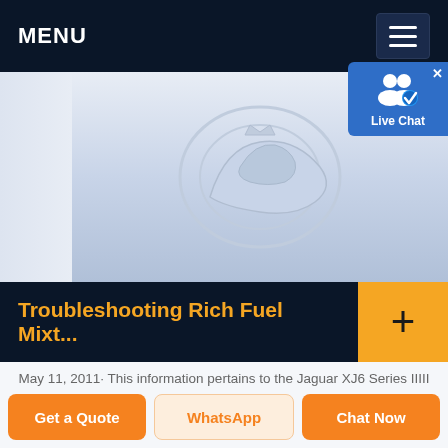MENU
[Figure (screenshot): Faded Jaguar logo / crest watermark image on light blue-grey background]
Troubleshooting Rich Fuel Mixt...
May 11, 2011· This information pertains to the Jaguar XJ6 Series IIIII models with the fuel injected engine. However, in a broader sense, many of the items mentioned apply to other fuel injected models as well. ... On the engine this sensor is on the water rail in the 3 position from the front. ... AIR FLOW METER: The "AFM" is
Get a Quote | WhatsApp | Chat Now